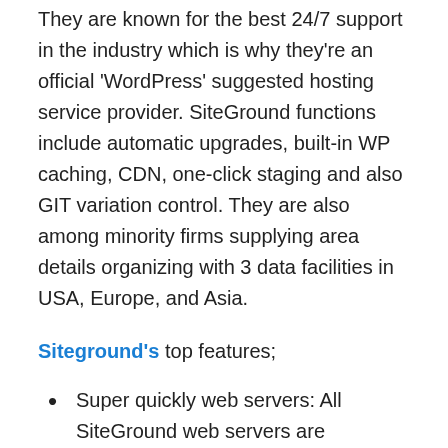They are known for the best 24/7 support in the industry which is why they're an official 'WordPress' suggested hosting service provider. SiteGround functions include automatic upgrades, built-in WP caching, CDN, one-click staging and also GIT variation control. They are also among minority firms supplying area details organizing with 3 data facilities in USA, Europe, and Asia.
Siteground's top features;
Super quickly web servers: All SiteGround web servers are extremely enhanced for speed. They are outfitted with most recent hardware like SSD drives as well as custom-made software application to make sure that your...